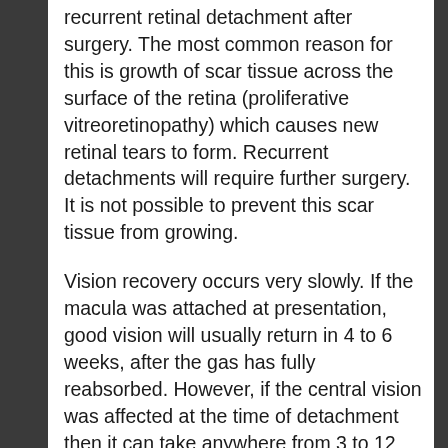recurrent retinal detachment after surgery. The most common reason for this is growth of scar tissue across the surface of the retina (proliferative vitreoretinopathy) which causes new retinal tears to form. Recurrent detachments will require further surgery. It is not possible to prevent this scar tissue from growing.
Vision recovery occurs very slowly. If the macula was attached at presentation, good vision will usually return in 4 to 6 weeks, after the gas has fully reabsorbed. However, if the central vision was affected at the time of detachment then it can take anywhere from 3 to 12 months for full vision recovery, and the final vision may still not be as clear as it was prior to the retinal detachment.
In patients who have not had cataract surgery, cataract progression is more rapid following vitrectomy, and cataract surgery is usually